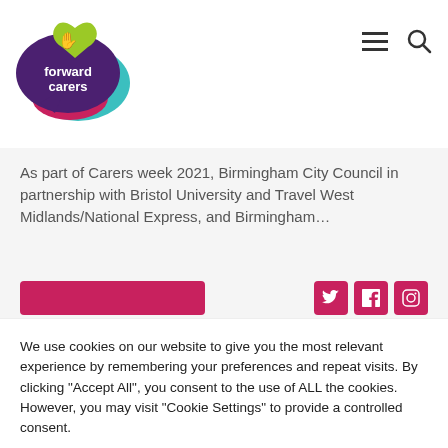[Figure (logo): Forward Carers logo — purple speech bubble with white text 'forward carers', teal speech bubble behind, green heart with hand icon on top]
As part of Carers week 2021, Birmingham City Council in partnership with Bristol University and Travel West Midlands/National Express, and Birmingham...
We use cookies on our website to give you the most relevant experience by remembering your preferences and repeat visits. By clicking "Accept All", you consent to the use of ALL the cookies. However, you may visit "Cookie Settings" to provide a controlled consent.